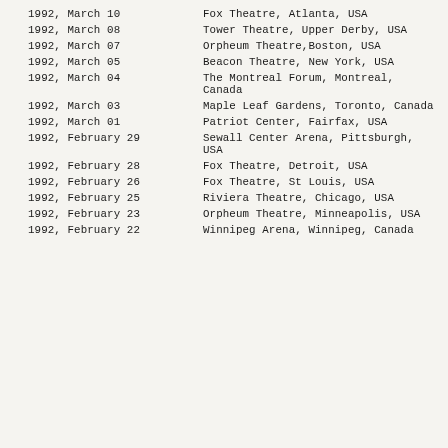1992, March 10 | Fox Theatre, Atlanta, USA
1992, March 08 | Tower Theatre, Upper Derby, USA
1992, March 07 | Orpheum Theatre, Boston, USA
1992, March 05 | Beacon Theatre, New York, USA
1992, March 04 | The Montreal Forum, Montreal, Canada
1992, March 03 | Maple Leaf Gardens, Toronto, Canada
1992, March 01 | Patriot Center, Fairfax, USA
1992, February 29 | Sewall Center Arena, Pittsburgh, USA
1992, February 28 | Fox Theatre, Detroit, USA
1992, February 26 | Fox Theatre, St Louis, USA
1992, February 25 | Riviera Theatre, Chicago, USA
1992, February 23 | Orpheum Theatre, Minneapolis, USA
1992, February 22 | Winnipeg Arena, Winnipeg, Canada